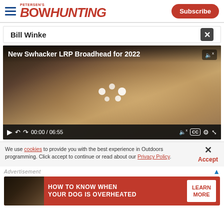Petersen's Bowhunting — Subscribe
Bill Winke
[Figure (screenshot): Video player showing 'New Swhacker LRP Broadhead for 2022' with thumbnail of hands holding a broadhead, paused at 00:00 / 06:55]
We use cookies to provide you with the best experience in Outdoors programming. Click accept to continue or read about our Privacy Policy.
Advertisement
[Figure (photo): Advertisement banner: 'HOW TO KNOW WHEN YOUR DOG IS OVERHEATED' — LEARN MORE button, red background with dog image]